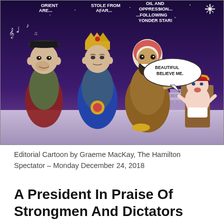[Figure (illustration): Editorial cartoon showing three caricatures (Kim Jong-un, Vladimir Putin, and a Saudi figure dressed as Three Wise Men/Magi) approaching a caricature of Donald Trump seated as baby Jesus in a manger scene with the White House in the background. Speech bubbles read 'WE THREE KINGS OF THE ORIENT ARE...', 'STOLE FROM AFAR...', 'OIL AND OPPRESSION... ...FOLLOWING YONDER STAR!' and 'BEAUTIFUL BELIEVE ME.' Musical notes appear near the first figure.]
Editorial Cartoon by Graeme MacKay, The Hamilton Spectator – Monday December 24, 2018
A President In Praise Of Strongmen And Dictators